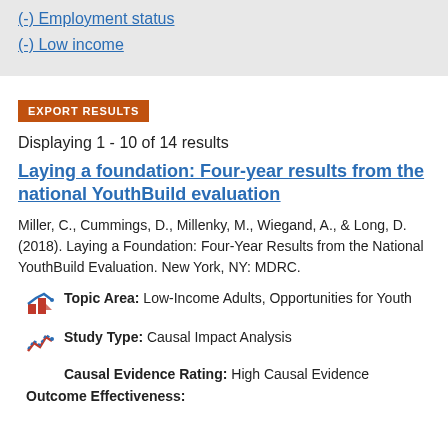(-) Employment status
(-) Low income
EXPORT RESULTS
Displaying 1 - 10 of 14 results
Laying a foundation: Four-year results from the national YouthBuild evaluation
Miller, C., Cummings, D., Millenky, M., Wiegand, A., & Long, D. (2018). Laying a Foundation: Four-Year Results from the National YouthBuild Evaluation. New York, NY: MDRC.
Topic Area: Low-Income Adults, Opportunities for Youth
Study Type: Causal Impact Analysis
Causal Evidence Rating: High Causal Evidence
Outcome Effectiveness: